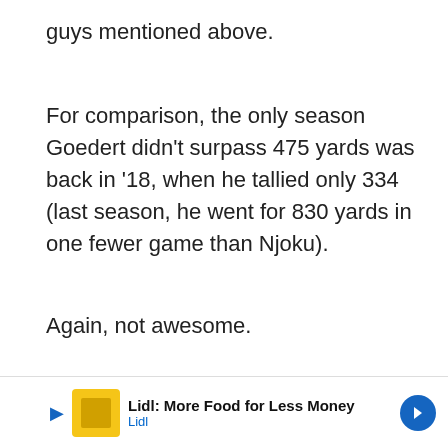guys mentioned above.
For comparison, the only season Goedert didn't surpass 475 yards was back in '18, when he tallied only 334 (last season, he went for 830 yards in one fewer game than Njoku).
Again, not awesome.
Cost /Value
How those
[Figure (other): Lidl advertisement overlay: 'Lidl: More Food for Less Money' with Lidl logo and navigation arrow]